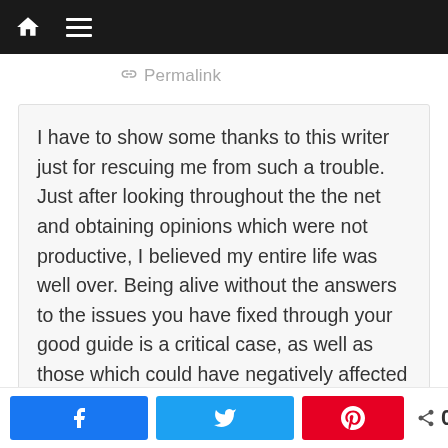Navigation bar with home and menu icons
Permalink
I have to show some thanks to this writer just for rescuing me from such a trouble. Just after looking throughout the the net and obtaining opinions which were not productive, I believed my entire life was well over. Being alive without the answers to the issues you have fixed through your good guide is a critical case, as well as those which could have negatively affected my entire career if I hadn't come across your web blog. Your good knowledge and kindness in controlling a lot of stuff was very useful. I'm not sure what I
0 SHARES (Facebook, Twitter, Pinterest share buttons)